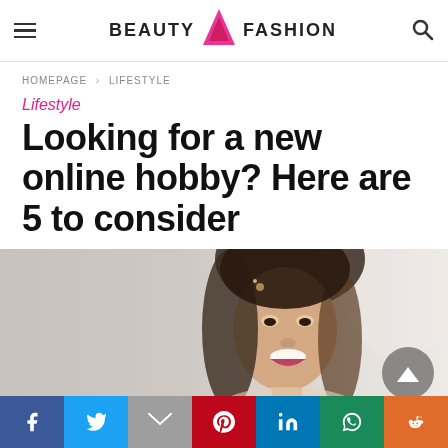BEAUTY FASHION
HOMEPAGE > LIFESTYLE
Lifestyle
Looking for a new online hobby? Here are 5 to consider
[Figure (photo): Young woman smiling and laughing, with long brunette hair, light background]
Social share bar: Facebook, Twitter, Gmail, Pinterest, LinkedIn, WhatsApp, Reddit